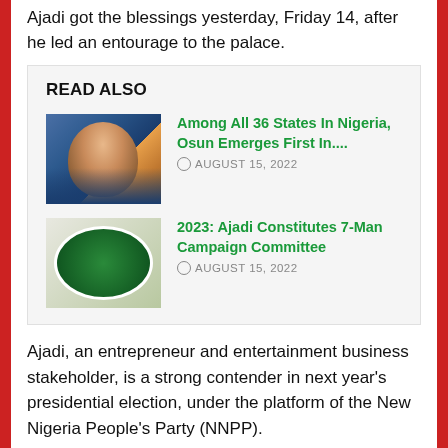Ajadi got the blessings yesterday, Friday 14, after he led an entourage to the palace.
READ ALSO
[Figure (photo): Photo of a man in a blue outfit wearing glasses, smiling]
Among All 36 States In Nigeria, Osun Emerges First In....
AUGUST 15, 2022
[Figure (logo): New Nigeria People's Party (NNPP) logo with green circular design and a figure raising hand]
2023: Ajadi Constitutes 7-Man Campaign Committee
AUGUST 15, 2022
Ajadi, an entrepreneur and entertainment business stakeholder, is a strong contender in next year's presidential election, under the platform of the New Nigeria People's Party (NNPP).
Welcoming Ajadi and his team, Oba Ogunwusi